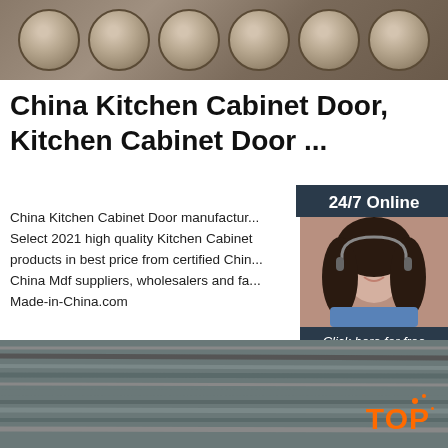[Figure (photo): Photo of cylindrical metal billets/rods with red Chinese text markings stacked together]
China Kitchen Cabinet Door, Kitchen Cabinet Door ...
[Figure (other): Customer service chat widget with 24/7 Online label, photo of a woman with headset, Click here for free chat text, and orange QUOTATION button]
China Kitchen Cabinet Door manufacturers - Select 2021 high quality Kitchen Cabinet products in best price from certified China Mdf suppliers, wholesalers and fa... Made-in-China.com
[Figure (other): Green Get Price button]
[Figure (photo): Photo of steel rebar rods bundled together with an orange TOP badge watermark in the lower right corner]